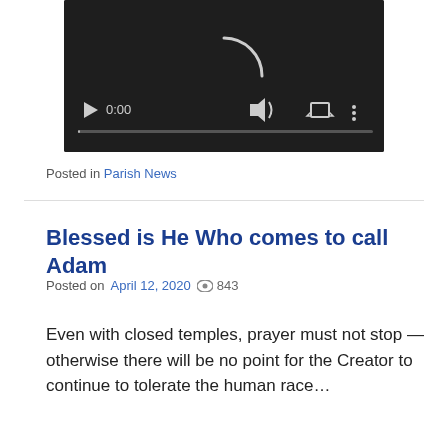[Figure (screenshot): Video player screenshot showing a dark background with a loading spinner, play button, 0:00 timestamp, volume icon, fullscreen icon, and more options icon, with a progress bar at the bottom.]
Posted in Parish News
Blessed is He Who comes to call Adam
Posted on April 12, 2020  843
Even with closed temples, prayer must not stop — otherwise there will be no point for the Creator to continue to tolerate the human race…